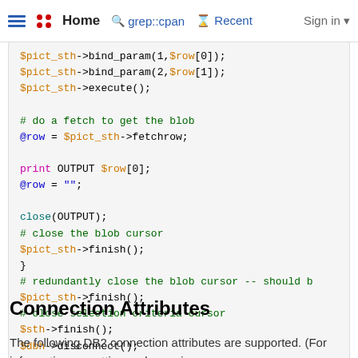Home   grep::cpan   Recent   Sign in
$pict_sth->bind_param(1,$row[0]);
$pict_sth->bind_param(2,$row[1]);
$pict_sth->execute();

# do a fetch to get the blob
@row = $pict_sth->fetchrow;

print OUTPUT $row[0];
@row = "";

close(OUTPUT);
# close the blob cursor
$pict_sth->finish();
}
# redundantly close the blob cursor -- should b
$pict_sth->finish();
# close selection criteria cursor
$sth->finish();
$dbh->disconnect();
Connection Attributes
The following DB2 connection attributes are supported. (For information on setting and querying